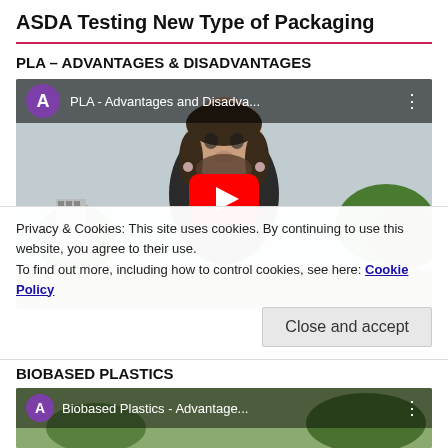ASDA Testing New Type of Packaging
PLA – ADVANTAGES & DISADVANTAGES
[Figure (screenshot): YouTube video thumbnail showing a bearded man outdoors with trees in the background. Title bar reads 'PLA - Advantages and Disadva...' with a purple channel avatar 'A'. A red YouTube play button is centered on the image.]
Privacy & Cookies: This site uses cookies. By continuing to use this website, you agree to their use.
To find out more, including how to control cookies, see here: Cookie Policy
[Close and accept]
BIOBASED PLASTICS
[Figure (screenshot): YouTube video thumbnail showing trees/outdoor background. Title bar reads 'Biobased Plastics - Advantage...' with a purple channel avatar 'A'.]